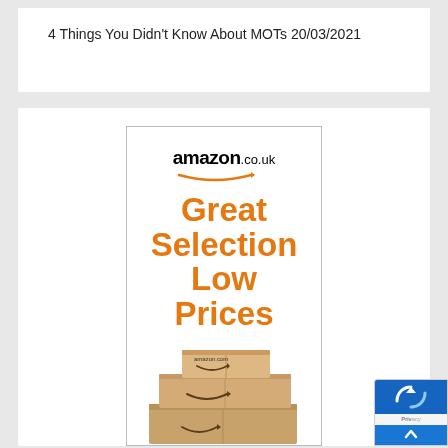4 Things You Didn’t Know About MOTs 20/03/2021
[Figure (advertisement): Amazon.co.uk advertisement banner showing the Amazon logo with arrow, text reading 'Great Selection Low Prices' in orange, and stacked Amazon delivery boxes at the bottom.]